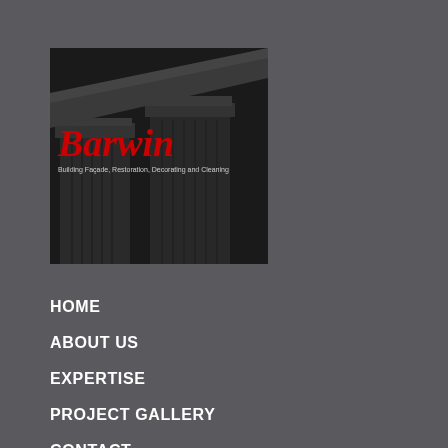[Figure (logo): Barwin company logo on dark background with classical architectural columns. Red italic 'Barwin' text with white subtitle 'Building Façade, Restoration, Decorating and Cleaning']
HOME
ABOUT US
EXPERTISE
PROJECT GALLERY
CONTACT